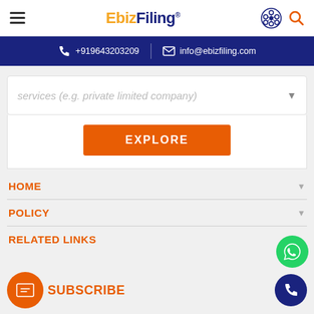EbizFiling® navigation bar with hamburger menu and search icon
+919643203209 | info@ebizfiling.com
[Figure (screenshot): Search dropdown field with placeholder text 'services (e.g. private limited company)']
EXPLORE
HOME
POLICY
RELATED LINKS
SUBSCRIBE